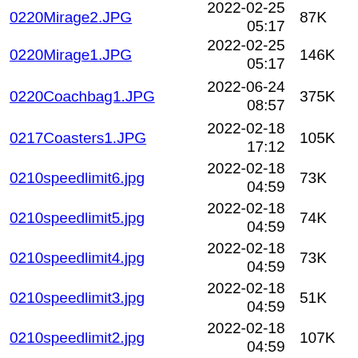0220Mirage2.JPG  2022-02-25 05:17  87K
0220Mirage1.JPG  2022-02-25 05:17  146K
0220Coachbag1.JPG  2022-06-24 08:57  375K
0217Coasters1.JPG  2022-02-18 17:12  105K
0210speedlimit6.jpg  2022-02-18 04:59  73K
0210speedlimit5.jpg  2022-02-18 04:59  74K
0210speedlimit4.jpg  2022-02-18 04:59  73K
0210speedlimit3.jpg  2022-02-18 04:59  51K
0210speedlimit2.jpg  2022-02-18 04:59  107K
0210speedlimit1.jpg  2022-02-18 04:59  119K
0210Jessdress7.jpg  2022-02-18 04:59  60K
0210Jessdress6.jpg  2022-02-18  262K